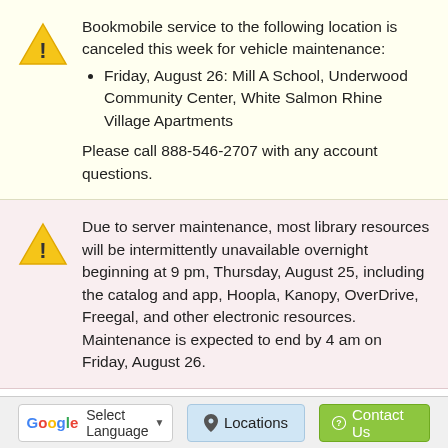Bookmobile service to the following location is canceled this week for vehicle maintenance:
Friday, August 26: Mill A School, Underwood Community Center, White Salmon Rhine Village Apartments
Please call 888-546-2707 with any account questions.
Due to server maintenance, most library resources will be intermittently unavailable overnight beginning at 9 pm, Thursday, August 25, including the catalog and app, Hoopla, Kanopy, OverDrive, Freegal, and other electronic resources. Maintenance is expected to end by 4 am on Friday, August 26.
Select Language | Locations | Contact Us